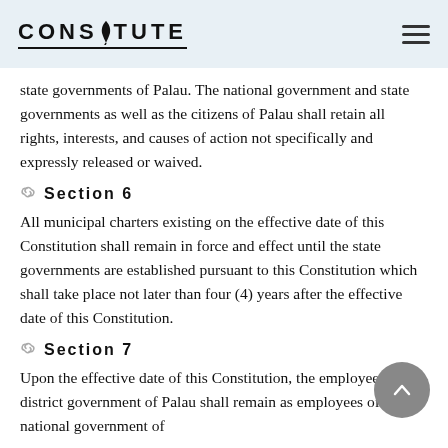CONSTITUTE
state governments of Palau. The national government and state governments as well as the citizens of Palau shall retain all rights, interests, and causes of action not specifically and expressly released or waived.
Section 6
All municipal charters existing on the effective date of this Constitution shall remain in force and effect until the state governments are established pursuant to this Constitution which shall take place not later than four (4) years after the effective date of this Constitution.
Section 7
Upon the effective date of this Constitution, the employees of the district government of Palau shall remain as employees of the national government of